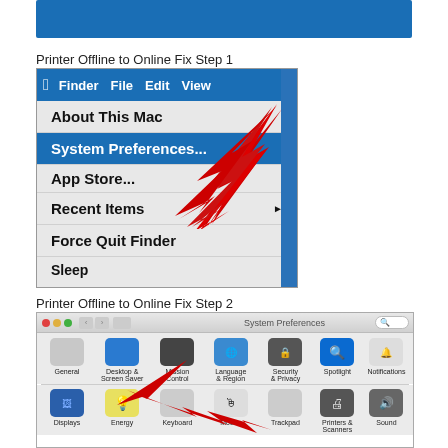[Figure (screenshot): Blue banner header strip]
Printer Offline to Online Fix Step 1
[Figure (screenshot): Mac OS X Apple menu showing System Preferences highlighted in blue with a red arrow pointing to it. Menu items: About This Mac, System Preferences..., App Store..., Recent Items, Force Quit Finder, Sleep, Restart...]
Printer Offline to Online Fix Step 2
[Figure (screenshot): Mac OS X System Preferences window showing icons including General, Desktop & Screen Saver, Mission Control, Language & Region, Security & Privacy, Spotlight, Notifications in top row, and Displays, Energy, Keyboard, Mouse, Trackpad, Printers & Scanners, Sound in bottom row. Red arrow pointing to Printers & Scanners icon.]